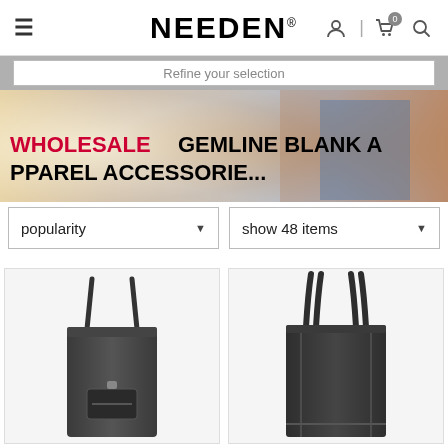NEEDEN® — navigation header with hamburger menu, logo, user icon, cart (0 items), and search icon
Refine your selection
[Figure (photo): Banner image showing a person in a blue plaid shirt and tan jacket with overlay text: WHOLESALE GEMLINE BLANK APPAREL ACCESSORIES]
popularity (dropdown) | show 48 items (dropdown)
[Figure (photo): Product image of a dark grey/black tote bag with single strap, shown on white background]
[Figure (photo): Product image of a dark grey/black structured tote bag with two straps, shown on white background]